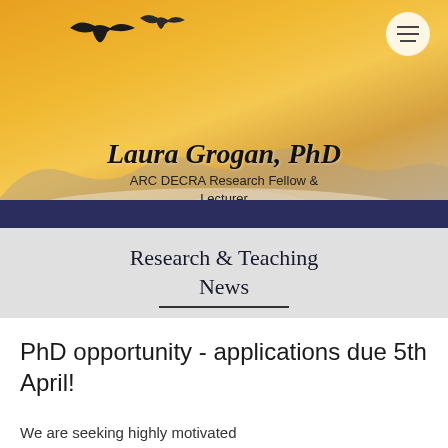[Figure (screenshot): Website header banner with warm golden sky background, silhouettes of flying birds (cranes/herons), and a circular hamburger menu button in the top right.]
Laura Grogan, PhD
ARC DECRA Research Fellow & Lecturer
Research & Teaching News
PhD opportunity - applications due 5th April!
We are seeking highly motivated